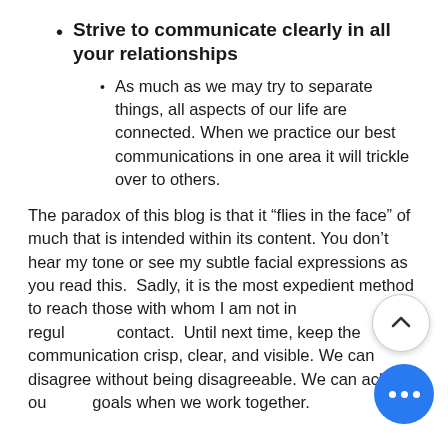Strive to communicate clearly in all your relationships
As much as we may try to separate things, all aspects of our life are connected. When we practice our best communications in one area it will trickle over to others.
The paradox of this blog is that it “flies in the face” of much that is intended within its content. You don’t hear my tone or see my subtle facial expressions as you read this.  Sadly, it is the most expedient method to reach those with whom I am not in regular contact.  Until next time, keep the communication crisp, clear, and visible. We can disagree without being disagreeable. We can achieve our goals when we work together.